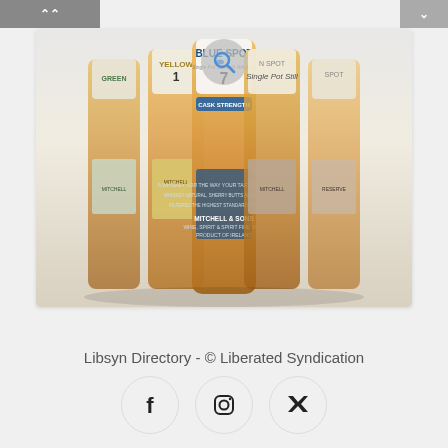[Figure (photo): Multiple bottles of Irish whisky including Blue Spot, Yellow Spot, Green Spot, and other Spot series bottles by Mitchell & Sons, arranged in a fan display. The central bottle is Blue Spot 7 Year Cask Strength.]
Libsyn Directory - © Liberated Syndication
[Figure (other): Social media icons: Facebook, Instagram, Twitter in circular buttons]